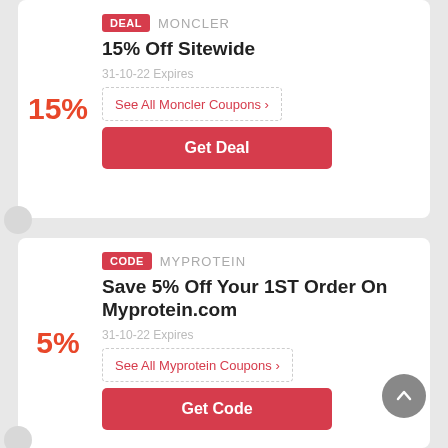DEAL  MONCLER
15% Off Sitewide
31-10-22 Expires
See All Moncler Coupons >
Get Deal
CODE  MYPROTEIN
Save 5% Off Your 1ST Order On Myprotein.com
31-10-22 Expires
See All Myprotein Coupons >
Get Code